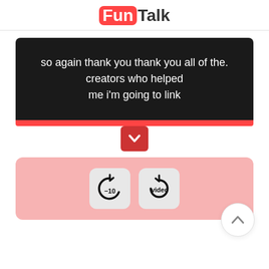[Figure (logo): FunTalk logo with 'Fun' in a red rounded box and 'Talk' in dark text]
so again thank you thank you all of the. creators who helped me i'm going to link
[Figure (screenshot): Video playback controls panel showing a rewind 10 seconds button and a video replay button on a pink background]
[Figure (other): Scroll to top circular button with upward chevron arrow]